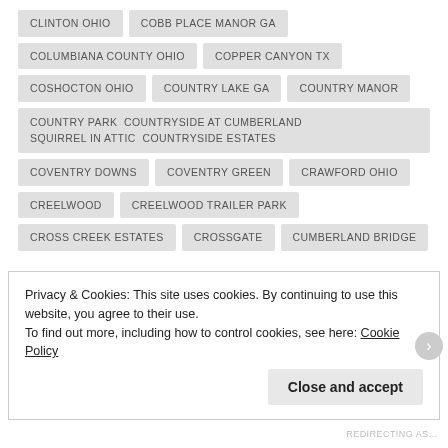CLINTON OHIO
COBB PLACE MANOR GA
COLUMBIANA COUNTY OHIO
COPPER CANYON TX
COSHOCTON OHIO
COUNTRY LAKE GA
COUNTRY MANOR
COUNTRY PARK COUNTRYSIDE AT CUMBERLAND SQUIRREL IN ATTIC  COUNTRYSIDE ESTATES
COVENTRY DOWNS
COVENTRY GREEN
CRAWFORD OHIO
CREELWOOD
CREELWOOD TRAILER PARK
CROSS CREEK ESTATES
CROSSGATE
CUMBERLAND BRIDGE
Privacy & Cookies: This site uses cookies. By continuing to use this website, you agree to their use.
To find out more, including how to control cookies, see here: Cookie Policy
Close and accept